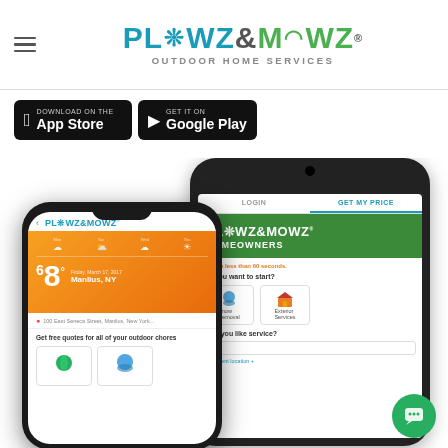[Figure (screenshot): Plowz & Mowz outdoor home services website screenshot showing logo, App Store and Google Play download buttons, and two smartphone mockups displaying the Plowz & Mowz mobile app interface]
PLOWZ & MOWZ OUTDOOR HOME SERVICES
Download on the App Store
GET IT ON Google Play
LOGIN | GET MY PRICE
PLOWZ&MOWZ HOMEOWNERS
OTE in less than 60 seconds.
do you want to start?
Snow Removal | Exterior Services
ould you like service?
68° Friday, March 17, 2017 Manlius, NY
100 East Seneca Street, Manlius, New York...
Get free quotes for all of your outdoor chores